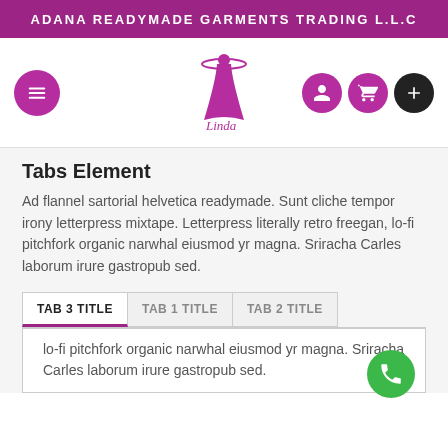ADANA READYMADE GARMENTS TRADING L.L.C
[Figure (logo): Linda fashion brand logo with woman in dress silhouette and cursive Linda text, flanked by hamburger menu button and nav icons (user, cart, plus)]
Tabs Element
Ad flannel sartorial helvetica readymade. Sunt cliche tempor irony letterpress mixtape. Letterpress literally retro freegan, lo-fi pitchfork organic narwhal eiusmod yr magna. Sriracha Carles laborum irure gastropub sed.
TAB 3 TITLE | TAB 1 TITLE | TAB 2 TITLE
lo-fi pitchfork organic narwhal eiusmod yr magna. Sriracha Carles laborum irure gastropub sed.